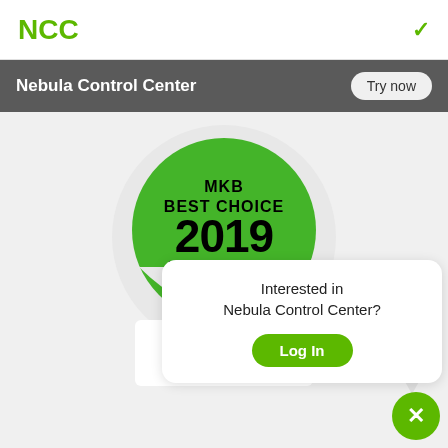NCC
Nebula Control Center
[Figure (illustration): MKB Best Choice 2019 Netwerk award badge - green circular badge with text: MKB BEST CHOICE 2019 NETWERK, Zyxel Nebula Control, winner]
[Figure (screenshot): Popup card with text 'Interested in Nebula Control Center?' and a green 'Log In' button]
[Figure (logo): THE CHANNEL CO. CRN logo in red and black]